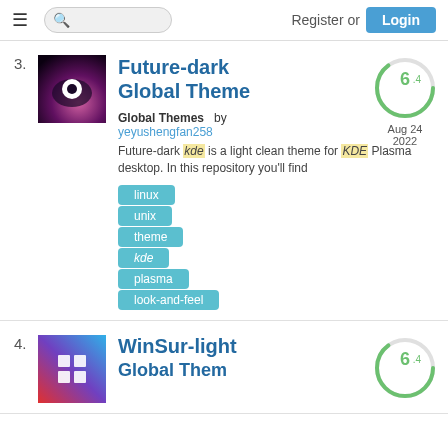Register or Login
3.
[Figure (photo): Thumbnail image for Future-dark Global Theme: dark background with pink/purple gradient and white circular element]
Future-dark Global Theme
[Figure (other): Score circle showing 6.4 in green]
Global Themes    by yeyushengfan258
Future-dark kde is a light clean theme for KDE Plasma desktop. In this repository you'll find
linux
unix
theme
kde
plasma
look-and-feel
4.
[Figure (photo): Thumbnail image for WinSur-light Global Theme: colorful gradient with Windows-style grid icon]
WinSur-light Global Theme
[Figure (other): Score circle showing 6.4 in green]